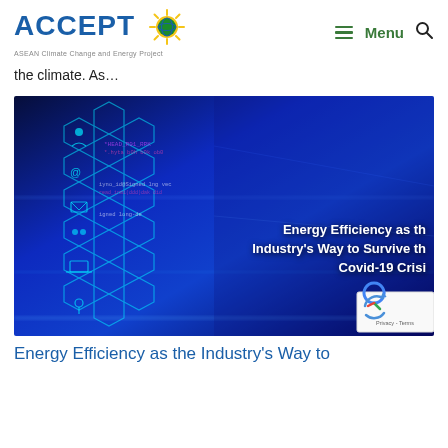ACCEPT — ASEAN Climate Change and Energy Project | Menu
the climate. As…
[Figure (photo): Dark blue digital technology background with hexagonal network icons and code overlay, showing article thumbnail for 'Energy Efficiency as the Industry's Way to Survive the Covid-19 Crisis']
Energy Efficiency as the Industry's Way to